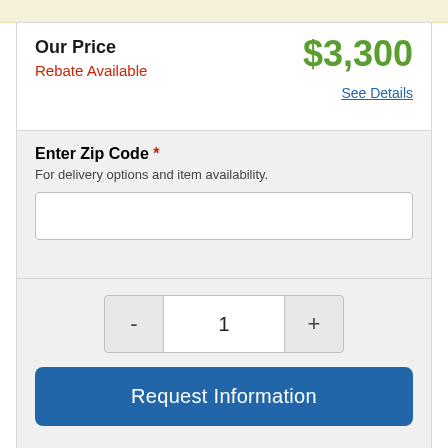Our Price
$3,300
Rebate Available
See Details
Enter Zip Code *
For delivery options and item availability.
1
Request Information
Share This Item